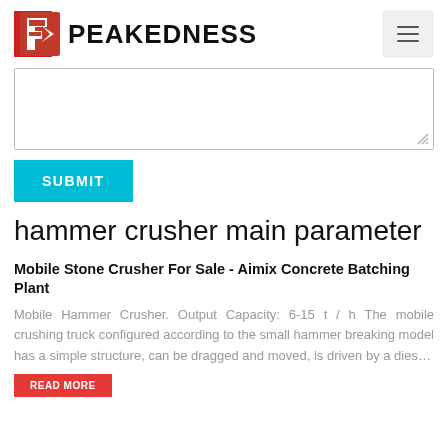PEAKEDNESS
[Figure (other): Empty textarea input field with resize handle in bottom-right corner]
SUBMIT
hammer crusher main parameter
Mobile Stone Crusher For Sale - Aimix Concrete Batching Plant
Mobile Hammer Crusher. Output Capacity: 6-15 t / h The mobile crushing truck configured according to the small hammer breaking model has a simple structure, can be dragged and moved, is driven by a dies…